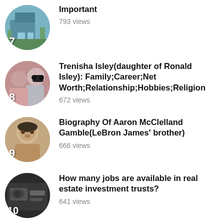Important — 793 views
Trenisha Isley(daughter of Ronald Isley): Family;Career;Net Worth;Relationship;Hobbies;Religion — 672 views
Biography Of Aaron McClelland Gamble(LeBron James' brother) — 666 views
How many jobs are available in real estate investment trusts? — 641 views